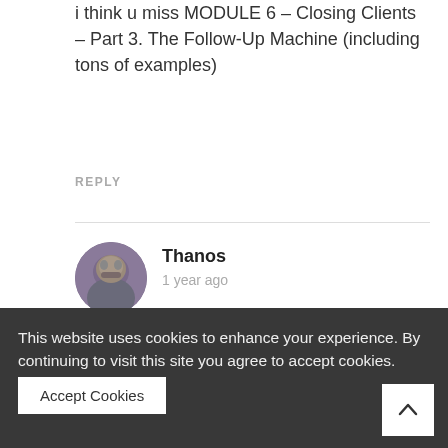i think u miss MODULE 6 – Closing Clients – Part 3. The Follow-Up Machine (including tons of examples)
REPLY
Thanos
1 year ago
[Figure (photo): Round avatar photo of Thanos character]
Fixed
REPLY
[Figure (photo): Round avatar with green and gold horned helmet icon (hefbiki)]
hefbiki
This website uses cookies to enhance your experience. By continuing to visit this site you agree to accept cookies.
Accept Cookies